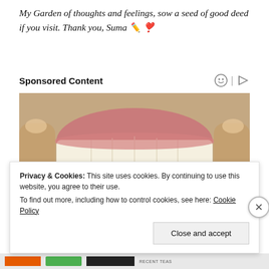My Garden of thoughts and feelings, sow a seed of good deed if you visit. Thank you, Suma ✏️❣️
Sponsored Content
[Figure (photo): Close-up photo of a person smiling and showing their teeth, with fingers pulling back the lips to display upper and lower teeth.]
Privacy & Cookies: This site uses cookies. By continuing to use this website, you agree to their use.
To find out more, including how to control cookies, see here: Cookie Policy
Close and accept